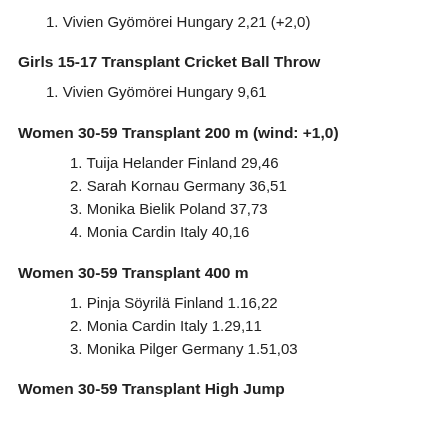1. Vivien Gyömörei Hungary 2,21 (+2,0)
Girls 15-17 Transplant Cricket Ball Throw
1. Vivien Gyömörei Hungary 9,61
Women 30-59 Transplant 200 m (wind: +1,0)
1. Tuija Helander Finland 29,46
2. Sarah Kornau Germany 36,51
3. Monika Bielik Poland 37,73
4. Monia Cardin Italy 40,16
Women 30-59 Transplant 400 m
1. Pinja Söyrilä Finland 1.16,22
2. Monia Cardin Italy 1.29,11
3. Monika Pilger Germany 1.51,03
Women 30-59 Transplant High Jump